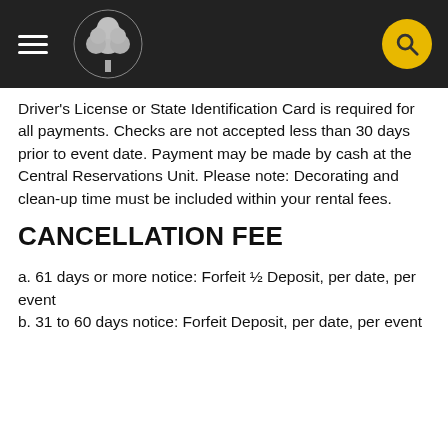[Navigation header with hamburger menu, tree logo, and search button]
Driver's License or State Identification Card is required for all payments. Checks are not accepted less than 30 days prior to event date. Payment may be made by cash at the Central Reservations Unit. Please note: Decorating and clean-up time must be included within your rental fees.
CANCELLATION FEE
a. 61 days or more notice: Forfeit ½ Deposit, per date, per event
b. 31 to 60 days notice: Forfeit Deposit, per date, per event